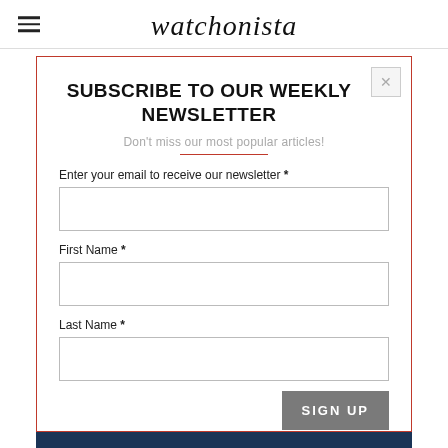watchonista
SUBSCRIBE TO OUR WEEKLY NEWSLETTER
Don't miss our most popular articles!
Enter your email to receive our newsletter *
First Name *
Last Name *